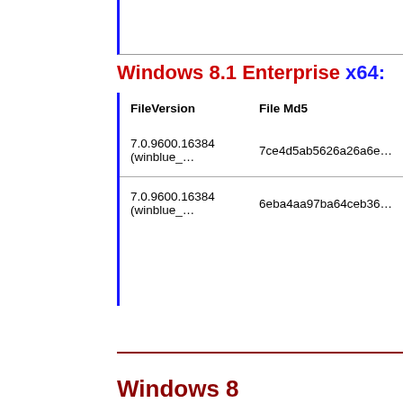Windows 8.1 Enterprise x64:
| FileVersion | File Md5 |
| --- | --- |
| 7.0.9600.16384 (winblue_… | 7ce4d5ab5626a26a6e… |
| 7.0.9600.16384 (winblue_… | 6eba4aa97ba64ceb36… |
Windows 8